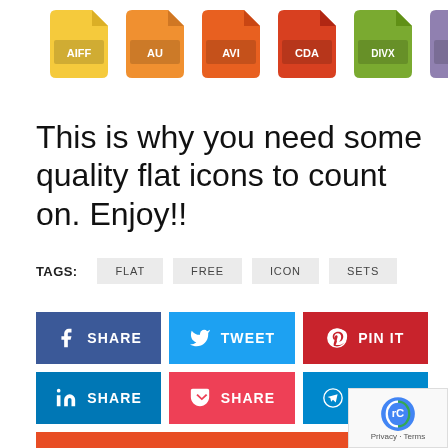[Figure (illustration): Six flat file format icons in a row: AIFF (yellow), AU (orange-yellow), AVI (orange), CDA (orange-red), DIVX (green), DVD (purple)]
This is why you need some quality flat icons to count on. Enjoy!!
TAGS: FLAT FREE ICON SETS
[Figure (infographic): Social media share buttons: Facebook SHARE, Tweet, PIN IT, LinkedIn SHARE, Pocket SHARE, Telegram SHARE, Reddit SHARE]